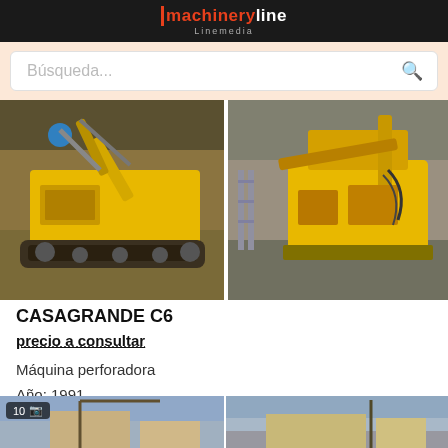Machinery Line Linemedia
Búsqueda...
[Figure (photo): Yellow Casagrande C6 drilling machine on crawler tracks, parked inside a warehouse, viewed from the left side]
[Figure (photo): Yellow Casagrande C6 drilling machine, partially visible, inside a warehouse with machinery components visible]
CASAGRANDE C6
precio a consultar
Máquina perforadora
Año: 1991
Italia, Parola di Fidenza (Pr)
[Figure (photo): Construction equipment listing preview image, left panel, with photo count badge showing 10]
[Figure (photo): Construction equipment listing preview image, right panel]